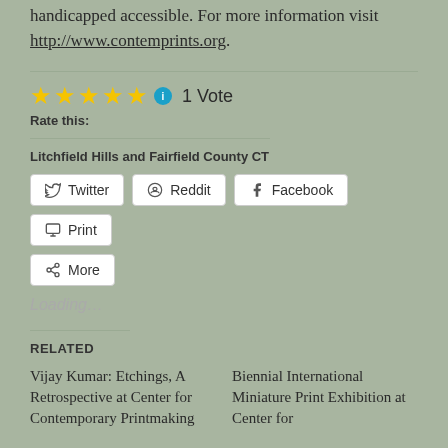handicapped accessible. For more information visit http://www.contemprints.org.
[Figure (other): Star rating widget showing 5 gold stars, an info icon, and '1 Vote' text]
Rate this:
Litchfield Hills and Fairfield County CT
[Figure (other): Social share buttons: Twitter, Reddit, Facebook, Print, More]
Loading...
RELATED
Vijay Kumar: Etchings, A Retrospective at Center for Contemporary Printmaking
Biennial International Miniature Print Exhibition at Center for